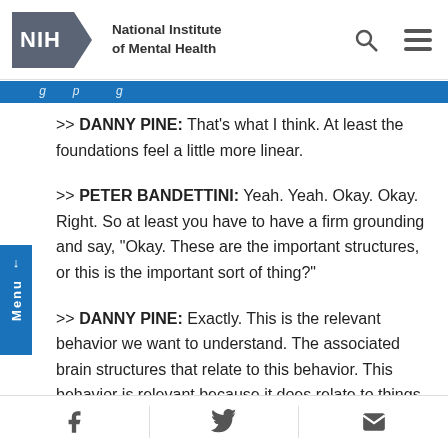NIH — National Institute of Mental Health
>> DANNY PINE: That's what I think. At least the foundations feel a little more linear.
>> PETER BANDETTINI: Yeah. Yeah. Okay. Okay. Right. So at least you have to have a firm grounding and say, "Okay. These are the important structures, or this is the important sort of thing?"
>> DANNY PINE: Exactly. This is the relevant behavior we want to understand. The associated brain structures that relate to this behavior. This behavior is relevant because it does relate to things out in the real world. At
f  twitter  email